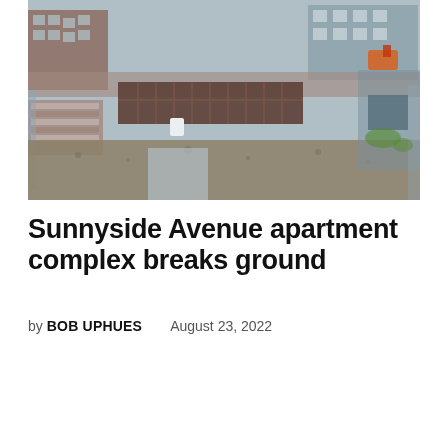[Figure (photo): Aerial/elevated view of a construction site showing an urban building lot with concrete formwork, lumber piles, scattered construction materials, gravel ground, chain-link fencing, and brick buildings visible in the background.]
Sunnyside Avenue apartment complex breaks ground
by BOB UPHUES   August 23, 2022